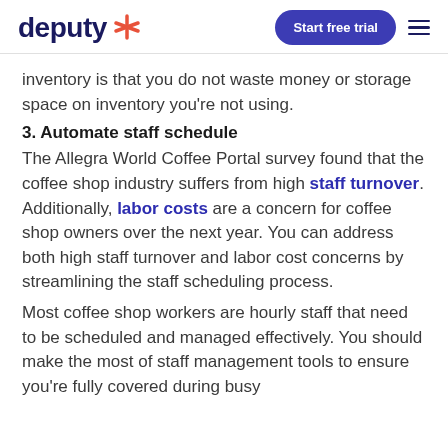deputy [logo] | Start free trial [button] | [hamburger menu]
inventory is that you do not waste money or storage space on inventory you're not using.
3. Automate staff schedule
The Allegra World Coffee Portal survey found that the coffee shop industry suffers from high staff turnover. Additionally, labor costs are a concern for coffee shop owners over the next year. You can address both high staff turnover and labor cost concerns by streamlining the staff scheduling process.
Most coffee shop workers are hourly staff that need to be scheduled and managed effectively. You should make the most of staff management tools to ensure you're fully covered during busy